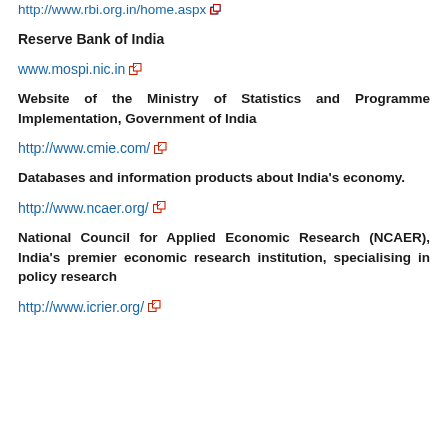http://www.rbi.org.in/home.aspx
Reserve Bank of India
www.mospi.nic.in
Website of the Ministry of Statistics and Programme Implementation, Government of India
http://www.cmie.com/
Databases and information products about India's economy.
http://www.ncaer.org/
National Council for Applied Economic Research (NCAER), India's premier economic research institution, specialising in policy research
http://www.icrier.org/